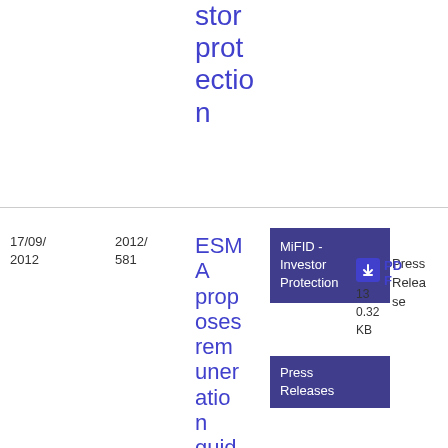stor prot ectio n
| Date | Reference | Title | Topics | Type | Files |
| --- | --- | --- | --- | --- | --- |
| 17/09/2012 | 2012/581 | ESMA proposes remuneration guidelines for firms providing investme... | MiFID - Investor Protection | Press Releases | Press Release | PDF 13 0.32 KB |